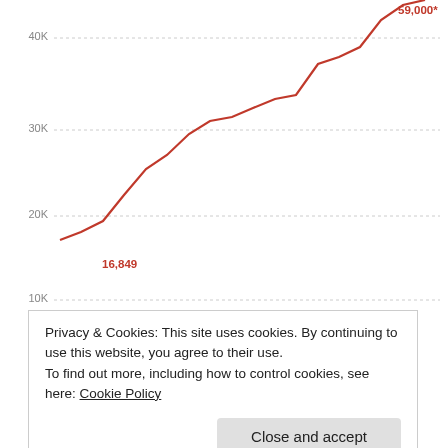[Figure (line-chart): Drug overdose deaths (top chart)]
The worst drug epidemics in American history
October 29, 2017
In "Labor"
[Figure (line-chart): Opioid metrics chart]
Privacy & Cookies: This site uses cookies. By continuing to use this website, you agree to their use.
To find out more, including how to control cookies, see here: Cookie Policy
Close and accept
Beer Companies Don't Care About The Median Drinker